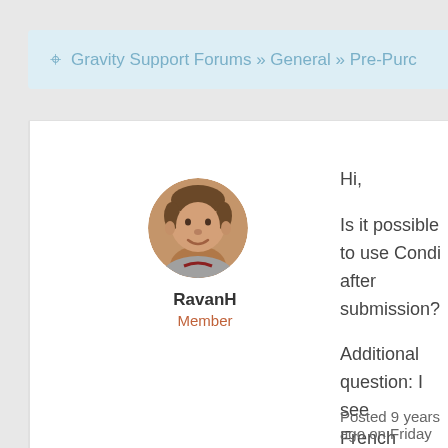Gravity Support Forums » General » Pre-Purc
[Figure (photo): Circular avatar photo of a man with short hair, smiling]
RavanH
Member
Hi,

Is it possible to use Condi after submission?

Additional question: I see French translation. Is that complete?

Kind regards,
Allard
Posted 9 years ago on Friday